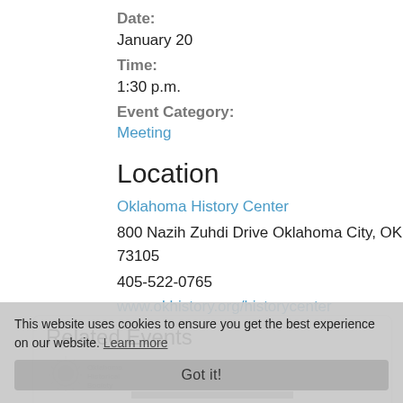Date:
January 20
Time:
1:30 p.m.
Event Category:
Meeting
Location
Oklahoma History Center
800 Nazih Zuhdi Drive Oklahoma City, OK 73105
405-522-0765
www.okhistory.org/historycenter
Related Events
This website uses cookies to ensure you get the best experience on our website. Learn more
Got it!